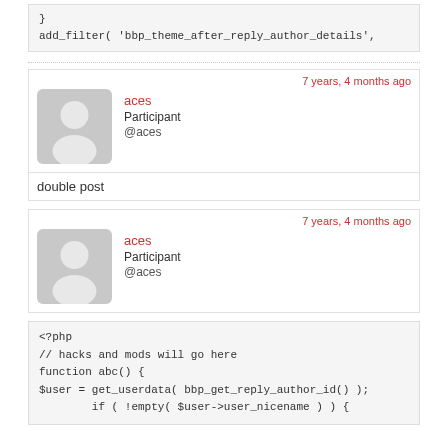}
add_filter( 'bbp_theme_after_reply_author_details',
7 years, 4 months ago
aces
Participant
@aces
double post
7 years, 4 months ago
aces
Participant
@aces
<?php
// hacks and mods will go here
function abc() {
$user = get_userdata( bbp_get_reply_author_id() );
        if ( !empty( $user->user_nicename ) ) {